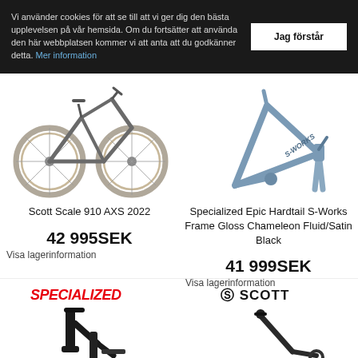Vi använder cookies för att se till att vi ger dig den bästa upplevelsen på vår hemsida. Om du fortsätter att använda den här webbplatsen kommer vi att anta att du godkänner detta. Mer information
Jag förstår
[Figure (photo): Scott Scale 910 AXS 2022 mountain bike, grey/brown tires, on white background]
Scott Scale 910 AXS 2022
42 995SEK
Visa lagerinformation
[Figure (photo): Specialized Epic Hardtail S-Works Frame Gloss Chameleon Fluid/Satin Black, metallic blue-grey frame on white background]
Specialized Epic Hardtail S-Works Frame Gloss Chameleon Fluid/Satin Black
41 999SEK
Visa lagerinformation
[Figure (logo): SPECIALIZED logo in red italic font]
[Figure (photo): Specialized bike frame partial view, dark/black, bottom of page]
[Figure (logo): SCOTT logo in black with S symbol]
[Figure (photo): Scott bike partial view, dark, bottom of page]